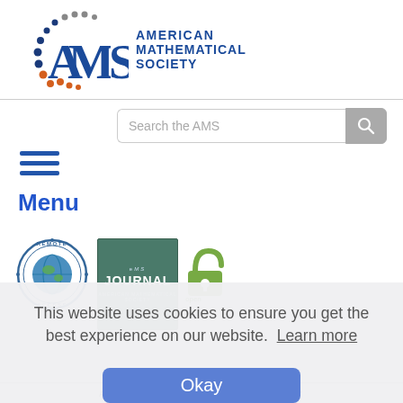[Figure (logo): American Mathematical Society logo with colorful dot arc and AMS letters in blue, with 'American Mathematical Society' text in blue caps]
[Figure (screenshot): Search bar labeled 'Search the AMS' with a gray search button]
[Figure (infographic): Hamburger menu icon (three horizontal blue lines)]
Menu
[Figure (photo): Remote Access globe badge and AMS Journal cover image (green cover with 'JOURNAL' text), open access logo]
This website uses cookies to ensure you get the best experience on our website.  Learn more
Okay
AMERICAN MATHEMATICAL SOCIETY